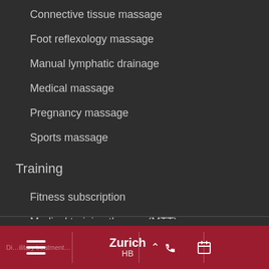Connective tissue massage
Foot reflexology massage
Manual lymphatic drainage
Medical massage
Pregnancy massage
Sports massage
Training
Fitness subscription
Medical training therapy (MTT)
Video Consultations
Zurich HB